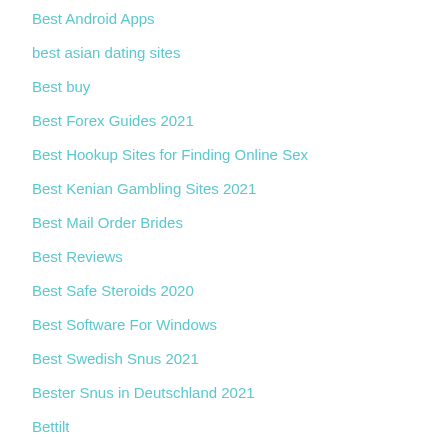Best Android Apps
best asian dating sites
Best buy
Best Forex Guides 2021
Best Hookup Sites for Finding Online Sex
Best Kenian Gambling Sites 2021
Best Mail Order Brides
Best Reviews
Best Safe Steroids 2020
Best Software For Windows
Best Swedish Snus 2021
Bester Snus in Deutschland 2021
Bettilt
Bl...